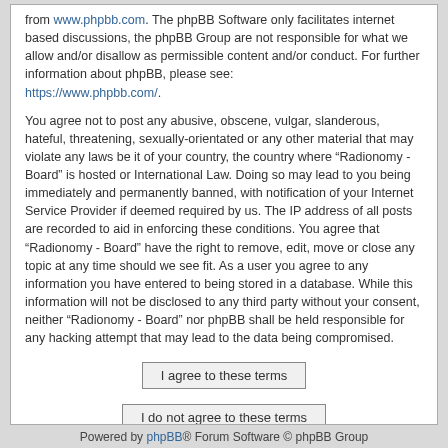from www.phpbb.com. The phpBB Software only facilitates internet based discussions, the phpBB Group are not responsible for what we allow and/or disallow as permissible content and/or conduct. For further information about phpBB, please see: https://www.phpbb.com/.
You agree not to post any abusive, obscene, vulgar, slanderous, hateful, threatening, sexually-orientated or any other material that may violate any laws be it of your country, the country where “Radionomy - Board” is hosted or International Law. Doing so may lead to you being immediately and permanently banned, with notification of your Internet Service Provider if deemed required by us. The IP address of all posts are recorded to aid in enforcing these conditions. You agree that “Radionomy - Board” have the right to remove, edit, move or close any topic at any time should we see fit. As a user you agree to any information you have entered to being stored in a database. While this information will not be disclosed to any third party without your consent, neither “Radionomy - Board” nor phpBB shall be held responsible for any hacking attempt that may lead to the data being compromised.
I agree to these terms
I do not agree to these terms
Powered by phpBB® Forum Software © phpBB Group